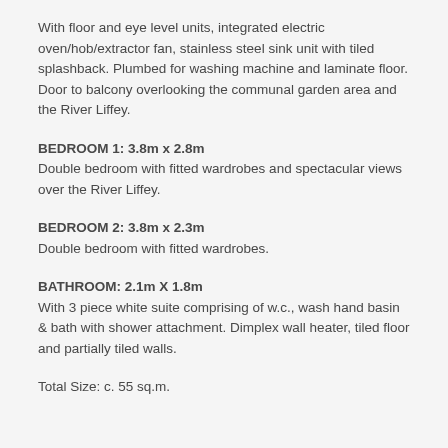With floor and eye level units, integrated electric oven/hob/extractor fan, stainless steel sink unit with tiled splashback. Plumbed for washing machine and laminate floor. Door to balcony overlooking the communal garden area and the River Liffey.
BEDROOM 1: 3.8m x 2.8m
Double bedroom with fitted wardrobes and spectacular views over the River Liffey.
BEDROOM 2: 3.8m x 2.3m
Double bedroom with fitted wardrobes.
BATHROOM: 2.1m X 1.8m
With 3 piece white suite comprising of w.c., wash hand basin & bath with shower attachment. Dimplex wall heater, tiled floor and partially tiled walls.
Total Size: c. 55 sq.m.